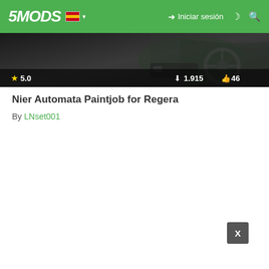5MODS | Iniciar sesión
[Figure (screenshot): Hero banner image showing car interior, dark tones. Stats overlay showing rating 5.0, downloads 1.915, likes 46.]
Nier Automata Paintjob for Regera
By LNset001
[Figure (other): Close button with X label in bottom right area]